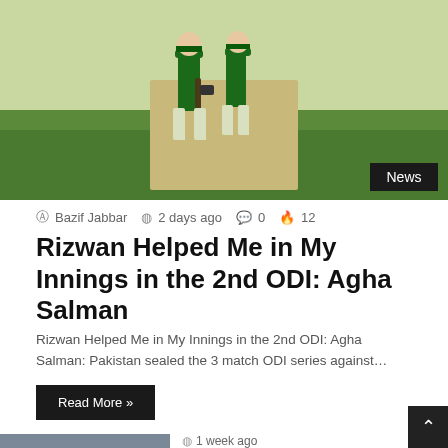[Figure (photo): Two cricket players in green Pakistan uniforms on a cricket field, with a grass pitch background. A 'News' badge is in the bottom-right corner of the image.]
Bazif Jabbar  2 days ago  0  12
Rizwan Helped Me in My Innings in the 2nd ODI: Agha Salman
Rizwan Helped Me in My Innings in the 2nd ODI: Agha Salman: Pakistan sealed the 3 match ODI series against…
Read More »
[Figure (photo): A man in a grey jacket sitting in what appears to be a stadium or sports venue, looking to the side.]
1 week ago
Jayawardene Picks Babar to Dethrone Joe Root as No.1 Test Batter
[Figure (photo): Group of Indian cricket team players in blue jerseys, crowded together.]
2 weeks ago
Insight on Indian Squad Announced for